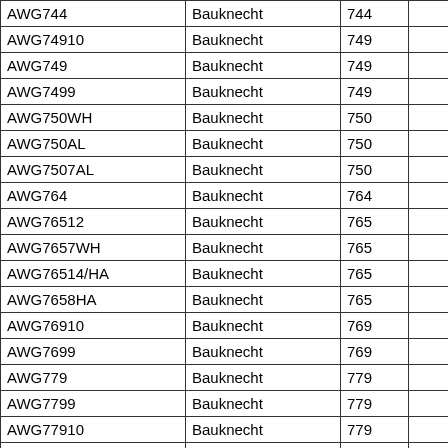| AWG744 | Bauknecht | 744 |  |
| AWG74910 | Bauknecht | 749 |  |
| AWG749 | Bauknecht | 749 |  |
| AWG7499 | Bauknecht | 749 |  |
| AWG750WH | Bauknecht | 750 |  |
| AWG750AL | Bauknecht | 750 |  |
| AWG7507AL | Bauknecht | 750 |  |
| AWG764 | Bauknecht | 764 |  |
| AWG76512 | Bauknecht | 765 |  |
| AWG7657WH | Bauknecht | 765 |  |
| AWG76514/HA | Bauknecht | 765 |  |
| AWG7658HA | Bauknecht | 765 |  |
| AWG76910 | Bauknecht | 769 |  |
| AWG7699 | Bauknecht | 769 |  |
| AWG779 | Bauknecht | 779 |  |
| AWG7799 | Bauknecht | 779 |  |
| AWG77910 | Bauknecht | 779 |  |
| AWG78310 | Bauknecht | 783 |  |
| AWG7839 | Bauknecht | 783 |  |
| AWG784 | Bauknecht | 784 |  |
| AWG7844 | Bauknecht | 784 |  |
| AWG7845 | Bauknecht | 784 |  |